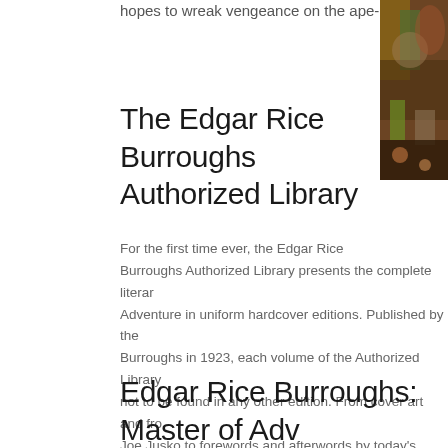hopes to wreak vengeance on the ape-man.
[Figure (illustration): Partial view of a painted book cover showing jungle/adventure artwork with rich earth tones, greens, and browns on the right edge of the page.]
The Edgar Rice Burroughs Authorized Library
For the first time ever, the Edgar Rice Burroughs Authorized Library presents the complete literary Adventure in uniform hardcover editions. Published by the Burroughs in 1923, each volume of the Authorized Library not to be found in any other edition. From cover art and fro Joe Jusko to forewords and afterwords by today's authoriti trove of bonus materials mined from the company's extens California, the Edgar Rice Burroughs Authorized Library will wonder and imagination you will never forget.
Edgar Rice Burroughs: Master of Adv